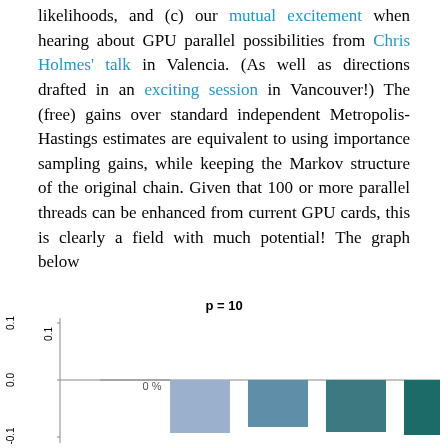likelihoods, and (c) our mutual excitement when hearing about GPU parallel possibilities from Chris Holmes' talk in Valencia. (As well as directions drafted in an exciting session in Vancouver!) The (free) gains over standard independent Metropolis-Hastings estimates are equivalent to using importance sampling gains, while keeping the Markov structure of the original chain. Given that 100 or more parallel threads can be enhanced from current GPU cards, this is clearly a field with much potential! The graph below
[Figure (bar-chart): p = 10]